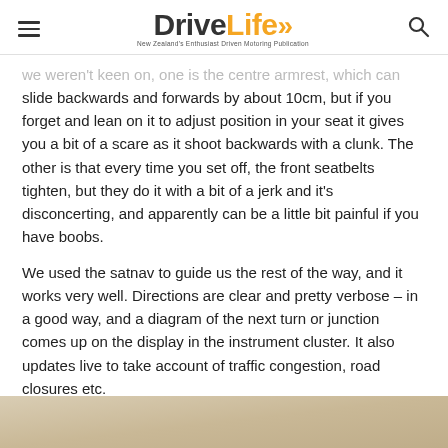DriveLife — New Zealand's Enthusiast Driven Motoring Publication
we weren't keen on, one is the centre armrest, which can slide backwards and forwards by about 10cm, but if you forget and lean on it to adjust position in your seat it gives you a bit of a scare as it shoot backwards with a clunk. The other is that every time you set off, the front seatbelts tighten, but they do it with a bit of a jerk and it's disconcerting, and apparently can be a little bit painful if you have boobs.
We used the satnav to guide us the rest of the way, and it works very well. Directions are clear and pretty verbose – in a good way, and a diagram of the next turn or junction comes up on the display in the instrument cluster. It also updates live to take account of traffic congestion, road closures etc.
[Figure (photo): Bottom strip showing a partial vehicle interior photo, beige/tan tones]